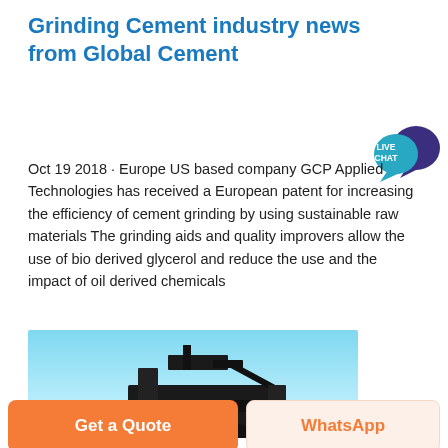Grinding Cement industry news from Global Cement
[Figure (illustration): Live Chat badge with speech bubble icon in blue/purple colors]
Oct 19 2018 · Europe US based company GCP Applied Technologies has received a European patent for increasing the efficiency of cement grinding by using sustainable raw materials The grinding aids and quality improvers allow the use of bio derived glycerol and reduce the use and the impact of oil derived chemicals
[Figure (photo): Cement industry machinery/equipment against a blue sky background]
Get a Quote
WhatsApp